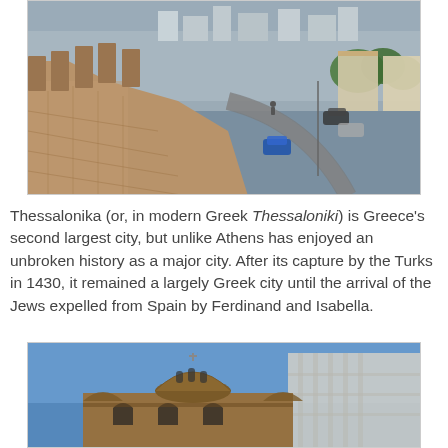[Figure (photo): Aerial view from ancient stone walls (Byzantine/Ottoman era) looking down over a street with parked cars and a densely built city of Thessaloniki spreading into the background, taken at dusk or early evening.]
Thessalonika (or, in modern Greek Thessaloniki) is Greece's second largest city, but unlike Athens has enjoyed an unbroken history as a major city. After its capture by the Turks in 1430, it remained a largely Greek city until the arrival of the Jews expelled from Spain by Ferdinand and Isabella.
[Figure (photo): A Byzantine church with a dome and arched windows photographed from below against a blue sky, with a modern building visible behind it.]